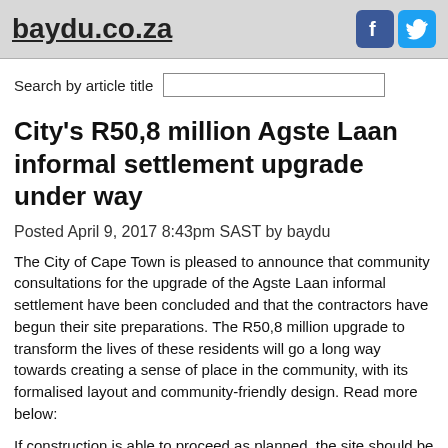baydu.co.za
Search by article title
City's R50,8 million Agste Laan informal settlement upgrade under way
Posted April 9, 2017 8:43pm SAST by baydu
The City of Cape Town is pleased to announce that community consultations for the upgrade of the Agste Laan informal settlement have been concluded and that the contractors have begun their site preparations. The R50,8 million upgrade to transform the lives of these residents will go a long way towards creating a sense of place in the community, with its formalised layout and community-friendly design. Read more below:
If construction is able to proceed as planned, the site should be completed by the end of 2018. Constant cooperation from